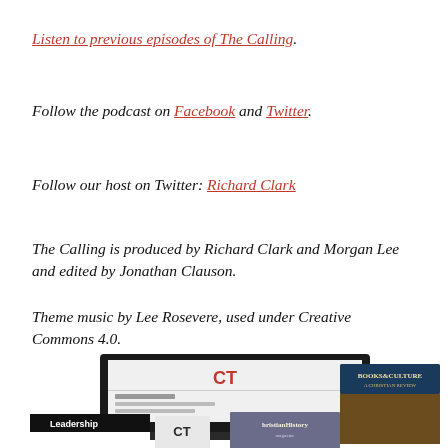Listen to previous episodes of The Calling.
Follow the podcast on Facebook and Twitter.
Follow our host on Twitter: Richard Clark
The Calling is produced by Richard Clark and Morgan Lee and edited by Jonathan Clauson.
Theme music by Lee Rosevere, used under Creative Commons 4.0.
[Figure (photo): Collage of Christian Today publications and digital platforms including CT website on a laptop, Books & Culture magazine, Leadership magazine, CT magazine, and Christian History magazine shown at the bottom of the page.]